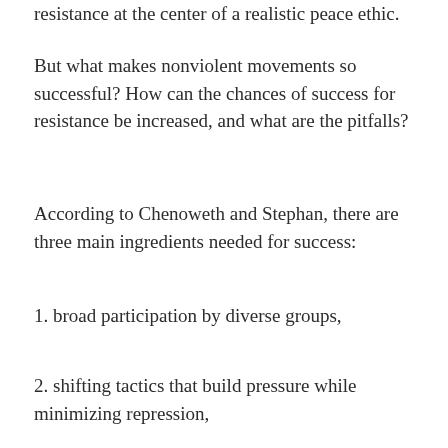resistance at the center of a realistic peace ethic.
But what makes nonviolent movements so successful? How can the chances of success for resistance be increased, and what are the pitfalls?
According to Chenoweth and Stephan, there are three main ingredients needed for success:
1. broad participation by diverse groups,
2. shifting tactics that build pressure while minimizing repression,